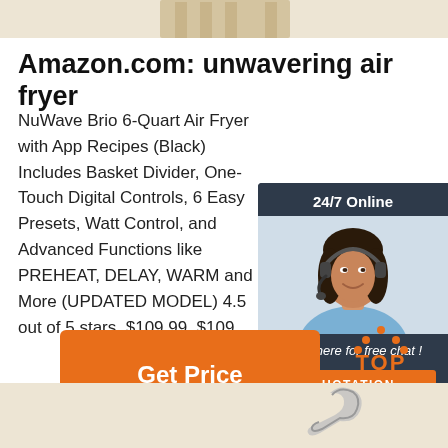[Figure (photo): Top strip showing partial product image with wooden/light background]
Amazon.com: unwavering air fryer
NuWave Brio 6-Quart Air Fryer with App Recipes (Black) Includes Basket Divider, One-Touch Digital Controls, 6 Easy Presets, Watt Control, and Advanced Functions like PREHEAT, DELAY, WARM and More (UPDATED MODEL) 4.5 out of 5 stars. $109.99. $109.
[Figure (photo): Customer service chat widget with woman wearing headset, '24/7 Online' label, 'Click here for free chat!' text, and orange QUOTATION button]
[Figure (other): Orange 'Get Price' button]
[Figure (other): TOP navigation button with orange dots and text]
[Figure (photo): Bottom beige/cream strip with partial product image showing a silver clip]